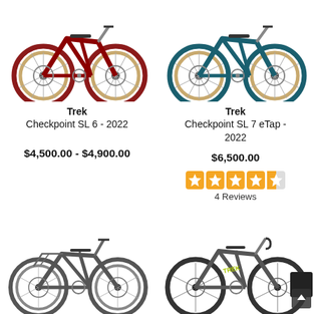[Figure (photo): Trek Checkpoint SL 6 2022 gravel bike in red/crimson color, side view, disc brakes, tan/brown tires]
[Figure (photo): Trek Checkpoint SL 7 eTap 2022 gravel bike in teal/dark green color, side view, disc brakes, tan/brown tires]
Trek Checkpoint SL 6 - 2022
Trek Checkpoint SL 7 eTap - 2022
$4,500.00 - $4,900.00
$6,500.00
4 Reviews
[Figure (photo): Dark gray/charcoal Trek commuter/urban bike with rack, flat bars, disc brakes, side view]
[Figure (photo): Gray Trek road bike with yellow/green Trek logo lettering, drop bars, with a dark back wheel bag/pannier, and a scroll-up button overlay]